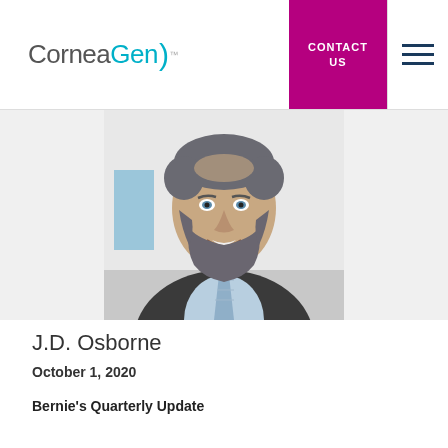CorneaGen™  |  CONTACT US
[Figure (photo): Professional headshot of J.D. Osborne, a man with a beard wearing a dark suit and light blue shirt with striped tie, smiling at the camera]
J.D. Osborne
October 1, 2020
Bernie's Quarterly Update